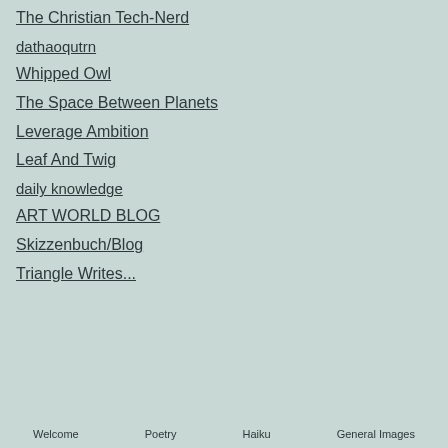The Christian Tech-Nerd
dathaoqutrn
Whipped Owl
The Space Between Planets
Leverage Ambition
Leaf And Twig
daily knowledge
ART WORLD BLOG
Skizzenbuch/Blog
Triangle Writes...
Welcome   Poetry   Haiku   General Images